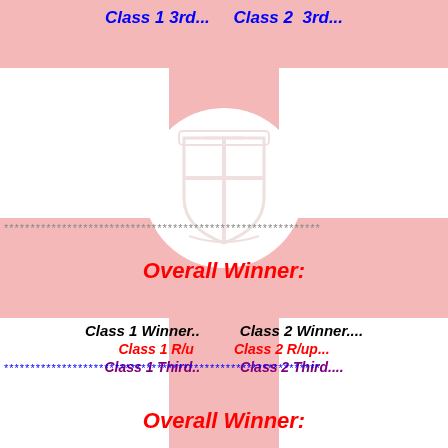Class 1 3rd...    Class 2  3rd...
[Figure (logo): Tolka Rovers football club crest/badge in circular form, faded pink watermark style]
************************************************************
Overall Winner:
Class 1 Winner..       Class 2 Winner....
Class 1 R/u       Class 2 R/up...
Class 1 Third..       Class 2 Third....
************************************************************
Overall Winner: